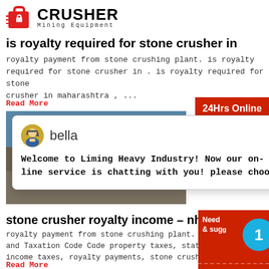CRUSHER Mining Equipment
is royalty required for stone crusher in
royalty payment from stone crushing plant. is royalty required for stone crusher in . is royalty required for stone crusher in maharashtra , ...
Read More
[Figure (screenshot): Chat popup with avatar of bella, welcome message from Liming Heavy Industry]
[Figure (photo): Stone crusher machinery at work site]
stone crusher royalty income – nh
royalty payment from stone crushing plant. CLA and Taxation Code Code property taxes, state a income taxes, royalty payments, stone crusher
Read More